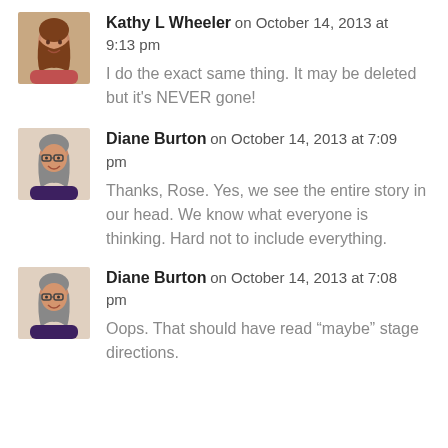Kathy L Wheeler on October 14, 2013 at 9:13 pm
I do the exact same thing. It may be deleted but it's NEVER gone!
Diane Burton on October 14, 2013 at 7:09 pm
Thanks, Rose. Yes, we see the entire story in our head. We know what everyone is thinking. Hard not to include everything.
Diane Burton on October 14, 2013 at 7:08 pm
Oops. That should have read “maybe” stage directions.